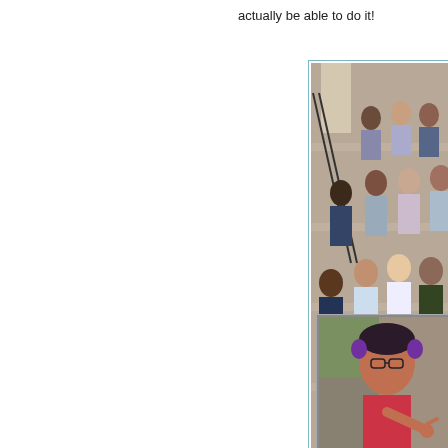actually be able to do it!
[Figure (photo): Group of students posing on outdoor stone steps in front of a building, holding a red banner with a white number. Some students are in casual summer clothing.]
SCC with
[Figure (photo): Close-up of a young woman with purple-tipped hair and glasses, wearing a pink or red top, pointing toward the camera outdoors near stone structures.]